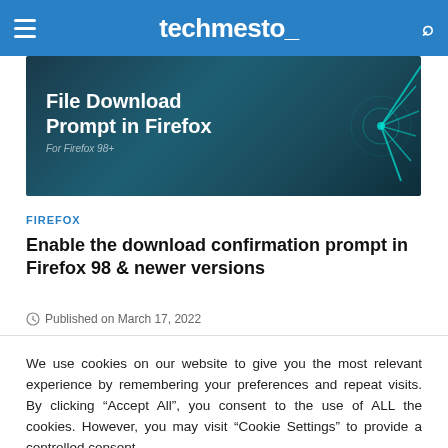techmesto_
[Figure (photo): Hero image with text 'File Download Prompt in Firefox' on a dark teal background with glowing teal lines on the right side]
FIREFOX
Enable the download confirmation prompt in Firefox 98 & newer versions
Published on March 17, 2022
We use cookies on our website to give you the most relevant experience by remembering your preferences and repeat visits. By clicking “Accept All”, you consent to the use of ALL the cookies. However, you may visit "Cookie Settings" to provide a controlled consent.